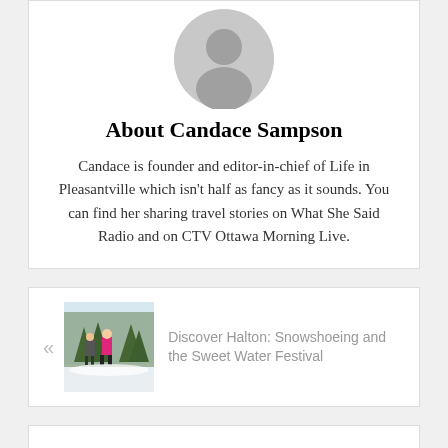[Figure (illustration): Grey circular avatar/profile icon placeholder with silhouette of a person]
About Candace Sampson
Candace is founder and editor-in-chief of Life in Pleasantville which isn't half as fancy as it sounds. You can find her sharing travel stories on What She Said Radio and on CTV Ottawa Morning Live.
[Figure (photo): Outdoor winter photo showing two people snowshoeing in a snowy forest, one wearing a bright pink jacket]
Discover Halton: Snowshoeing and the Sweet Water Festival